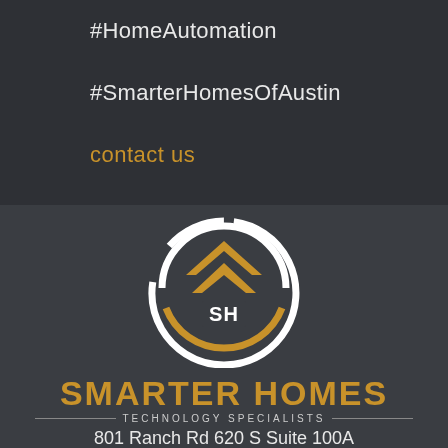#HomeAutomation
#SmarterHomesOfAustin
contact us
[Figure (logo): Smarter Homes circular logo with house/chevron shapes in gold and white circle arc, with SH initials]
SMARTER HOMES
TECHNOLOGY SPECIALISTS
801 Ranch Rd 620 S Suite 100A
Lakeway, TX 78734
(512) 775-6101